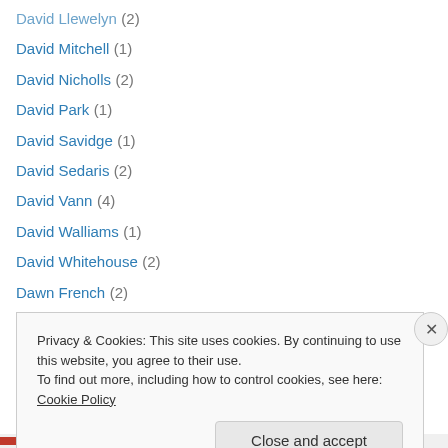David Llewelyn (2)
David Mitchell (1)
David Nicholls (2)
David Park (1)
David Savidge (1)
David Sedaris (2)
David Vann (4)
David Walliams (1)
David Whitehouse (2)
Dawn French (2)
Deborah Devonshire (4)
Deborah Kay Davies (1)
Deborah Levy (2)
Deborah Moggach (1)
Privacy & Cookies: This site uses cookies. By continuing to use this website, you agree to their use. To find out more, including how to control cookies, see here: Cookie Policy
Close and accept